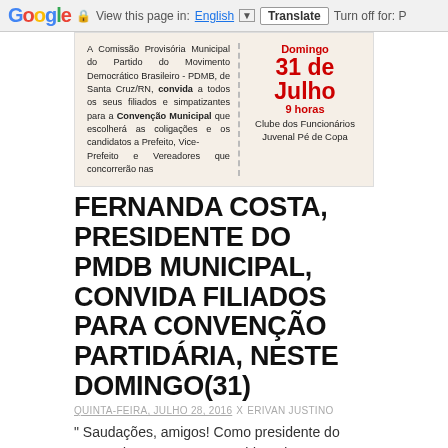Google  View this page in: English [▼]  Translate  Turn off for: P
[Figure (infographic): Political party convention invitation card for PMDB Municipal, Santa Cruz/RN. Left side: text 'A Comissão Provisória Municipal do Partido do Movimento Democrático Brasileiro - PDMB, de Santa Cruz/RN, convida a todos os seus filiados e simpatizantes para a Convenção Municipal que escolherá as coligações e os candidatos a Prefeito, Vice-Prefeito e Vereadores que concorrerão nas...'. Right side: red text 'Domingo 31 de Julho 9 horas Clube dos Funcionários Juvenal Pé de Copa'.]
FERNANDA COSTA, PRESIDENTE DO PMDB MUNICIPAL, CONVIDA FILIADOS PARA CONVENÇÃO PARTIDÁRIA, NESTE DOMINGO(31)
QUINTA-FEIRA, JULHO 28, 2016  X  ERIVAN JUSTINO
" Saudações, amigos! Como presidente do PMDB de Santa Cruz, convido todos a participar, neste domingo, de nossa convenção, que ac...
LEIA MAIS